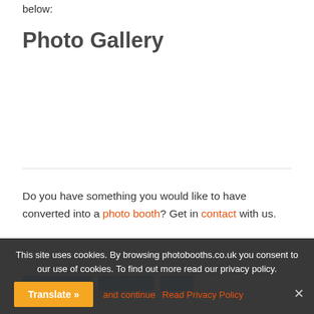below:
Photo Gallery
Do you have something you would like to have converted into a photo booth? Get in contact with us.
This site uses cookies. By browsing photobooths.co.uk you consent to our use of cookies. To find out more read our privacy policy.
Translate » and continue Read Privacy Policy